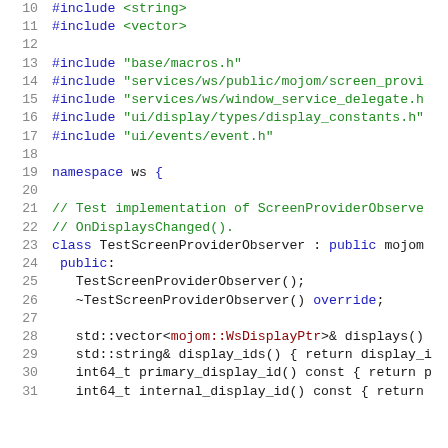[Figure (screenshot): C++ source code snippet showing include directives, namespace declaration, comment block, and class definition for TestScreenProviderObserver. Lines 10-31 are visible. Uses syntax highlighting with blue keywords, green strings and comments, dark red type names.]